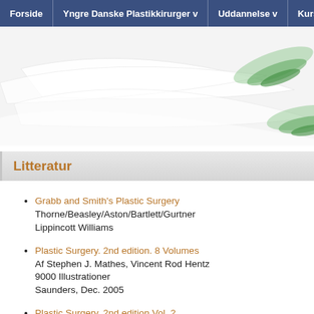Forside | Yngre Danske Plastikkirurger v | Uddannelse v | Kurser v | Mød
[Figure (illustration): Decorative banner with white and green swirling abstract design on light grey background]
Litteratur
Grabb and Smith's Plastic Surgery
Thorne/Beasley/Aston/Bartlett/Gurtner
Lippincott Williams
Plastic Surgery. 2nd edition. 8 Volumes
Af Stephen J. Mathes, Vincent Rod Hentz
9000 Illustrationer
Saunders, Dec. 2005
Plastic Surgery. 2nd edition Vol. 2
Af Stephen J. Mathes